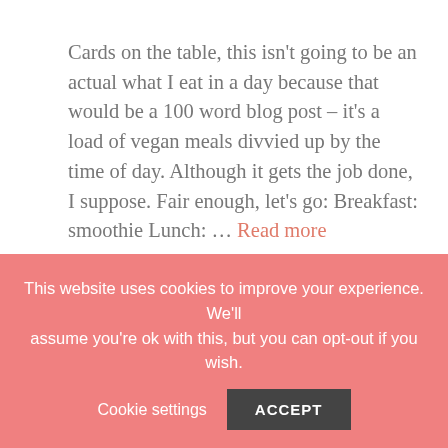Cards on the table, this isn't going to be an actual what I eat in a day because that would be a 100 word blog post – it's a load of vegan meals divvied up by the time of day. Although it gets the job done, I suppose. Fair enough, let's go: Breakfast: smoothie Lunch: … Read more
food, vegan newbies
Leave a comment
This website uses cookies to improve your experience. We'll assume you're ok with this, but you can opt-out if you wish.
Cookie settings   ACCEPT